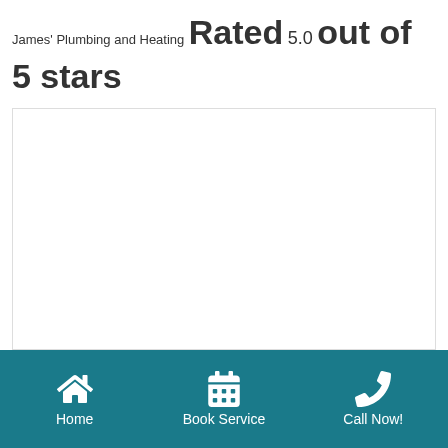James' Plumbing and Heating Rated 5.0 out of 5 stars based on 167 customer reviews
[Figure (other): White content area box with light border, likely containing a map or embedded widget]
Home | Book Service | Call Now!